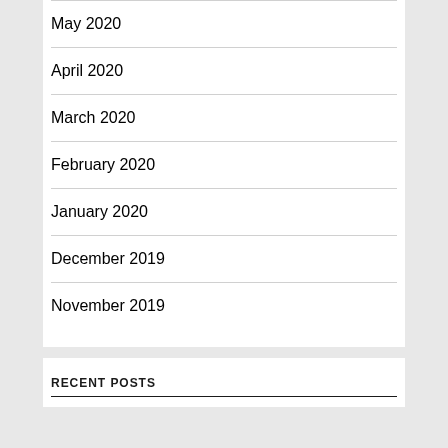May 2020
April 2020
March 2020
February 2020
January 2020
December 2019
November 2019
RECENT POSTS